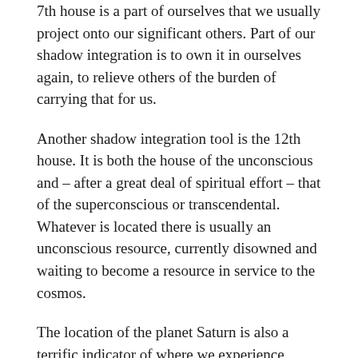7th house is a part of ourselves that we usually project onto our significant others. Part of our shadow integration is to own it in ourselves again, to relieve others of the burden of carrying that for us.
Another shadow integration tool is the 12th house. It is both the house of the unconscious and – after a great deal of spiritual effort – that of the superconscious or transcendental. Whatever is located there is usually an unconscious resource, currently disowned and waiting to become a resource in service to the cosmos.
The location of the planet Saturn is also a terrific indicator of where we experience obstacles or challenges, and thus can become areas in our lives that we'd just rather not deal with. When we mature into owning these qualities as part of ourselves, the challenges become strengths we become known for. An integrated Saturn also gives us the ability to access